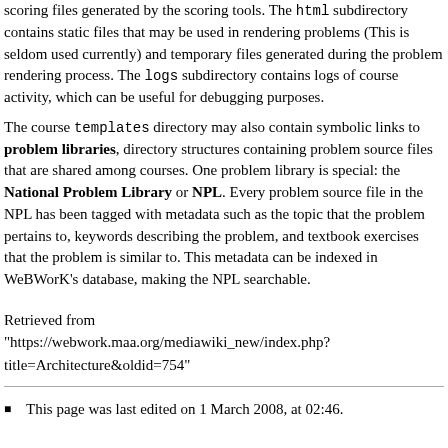scoring files generated by the scoring tools. The html subdirectory contains static files that may be used in rendering problems (This is seldom used currently) and temporary files generated during the problem rendering process. The logs subdirectory contains logs of course activity, which can be useful for debugging purposes.
The course templates directory may also contain symbolic links to problem libraries, directory structures containing problem source files that are shared among courses. One problem library is special: the National Problem Library or NPL. Every problem source file in the NPL has been tagged with metadata such as the topic that the problem pertains to, keywords describing the problem, and textbook exercises that the problem is similar to. This metadata can be indexed in WeBWorK's database, making the NPL searchable.
Retrieved from "https://webwork.maa.org/mediawiki_new/index.php?title=Architecture&oldid=754"
This page was last edited on 1 March 2008, at 02:46.